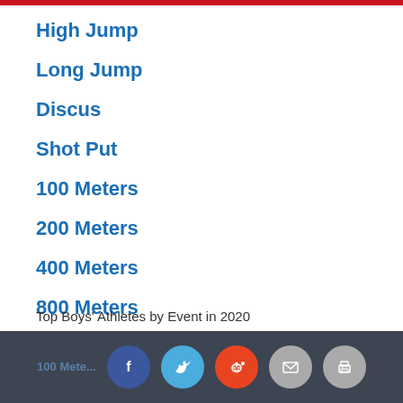High Jump
Long Jump
Discus
Shot Put
100 Meters
200 Meters
400 Meters
800 Meters
1,500 Meters
3,000 Meters
100 Meter Hurdles
Top Boys' Athletes by Event in 2020
100 Mete… [social share bar with Facebook, Twitter, Reddit, Email, Print buttons]